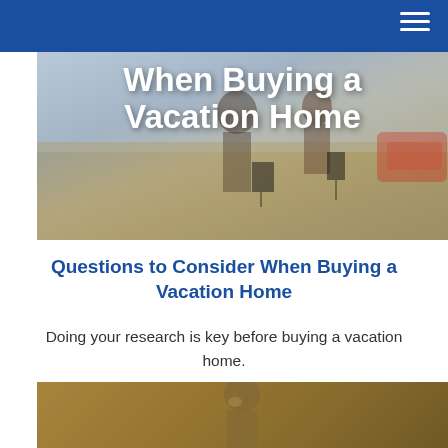[Figure (photo): Hero image showing people with luggage walking toward a vacation home, with bold white overlay text reading 'When Buying a Vacation Home']
Questions to Consider When Buying a Vacation Home
Doing your research is key before buying a vacation home.
[Figure (photo): Photo of a man in contemplative pose, partially visible, with blurred outdoor background]